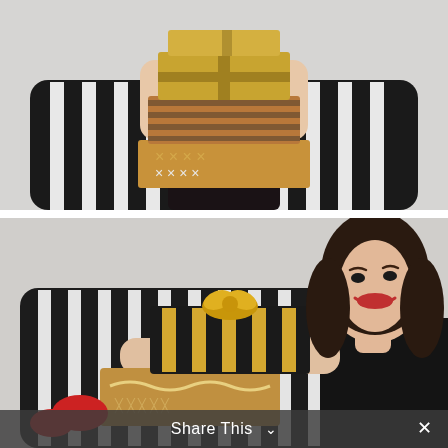[Figure (photo): A person holding a tall stack of wrapped gift boxes in front of their face, sitting on a black and white striped sofa. Gifts are wrapped in brown kraft paper with gold, black, and white patterns.]
[Figure (photo): A smiling young woman with dark hair holding a stack of wrapped gift boxes, sitting on a black and white striped sofa. A black and gold striped gift with a gold bow is on top, with brown kraft paper gifts below.]
Share This ∨